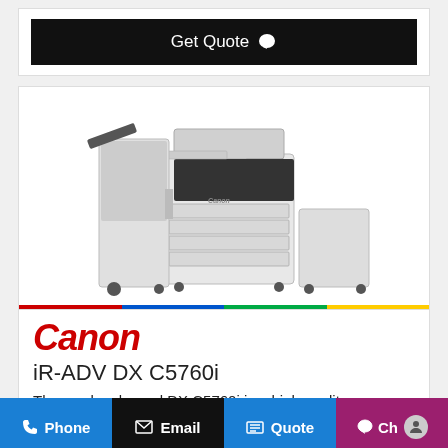[Figure (other): Black button labeled 'Get Quote' with speech bubble icon]
[Figure (photo): Canon iR-ADV DX C5760i multifunction printer/copier, large office device with finisher unit on left, paper trays, touchscreen panel, and separate stand unit on right]
Canon
iR-ADV DX C5760i
The newly released DX C5760i is a high quality
[Figure (other): Bottom navigation bar with Phone, Email, Quote, and Chat buttons]